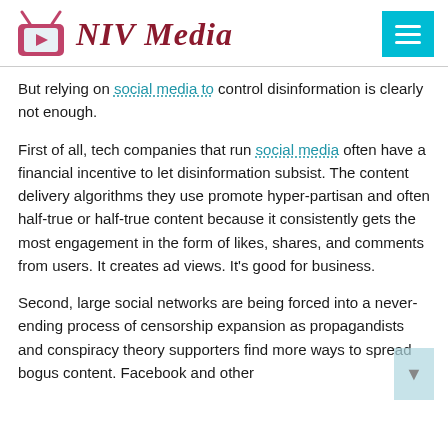NIV Media
But relying on social media to control disinformation is clearly not enough.
First of all, tech companies that run social media often have a financial incentive to let disinformation subsist. The content delivery algorithms they use promote hyper-partisan and often half-true or half-true content because it consistently gets the most engagement in the form of likes, shares, and comments from users. It creates ad views. It’s good for business.
Second, large social networks are being forced into a never-ending process of censorship expansion as propagandists and conspiracy theory supporters find more ways to spread bogus content. Facebook and other